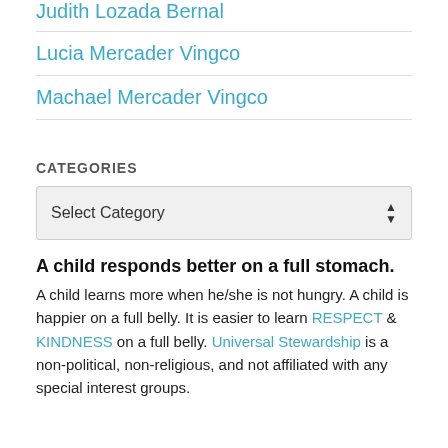Judith Lozada Bernal
Lucia Mercader Vingco
Machael Mercader Vingco
CATEGORIES
Select Category
A child responds better on a full stomach.
A child learns more when he/she is not hungry. A child is happier on a full belly. It is easier to learn RESPECT & KINDNESS on a full belly. Universal Stewardship is a non-political, non-religious, and not affiliated with any special interest groups.